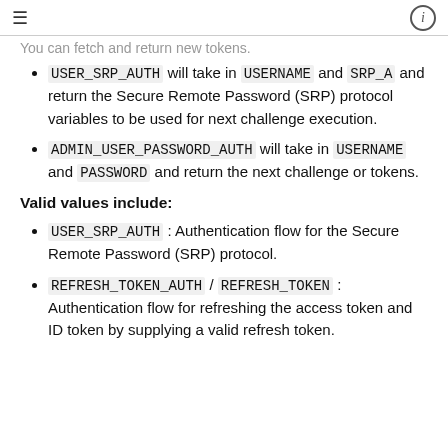≡  ⓘ
You can fetch and return new tokens.
USER_SRP_AUTH will take in USERNAME and SRP_A and return the Secure Remote Password (SRP) protocol variables to be used for next challenge execution.
ADMIN_USER_PASSWORD_AUTH will take in USERNAME and PASSWORD and return the next challenge or tokens.
Valid values include:
USER_SRP_AUTH : Authentication flow for the Secure Remote Password (SRP) protocol.
REFRESH_TOKEN_AUTH / REFRESH_TOKEN : Authentication flow for refreshing the access token and ID token by supplying a valid refresh token.